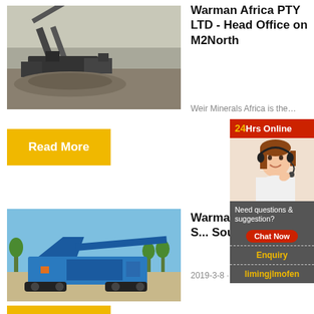[Figure (photo): Mining/quarry equipment with conveyor belts, black and white toned, industrial site]
Warman Africa PTY LTD - Head Office on M2North
Weir Minerals Africa is the...
Read More
[Figure (photo): Blue mobile crushing/screening machine on outdoor flat ground with trees in background]
Warman Pump S... South A...
2019-3-8 ·
[Figure (infographic): 24Hrs Online sidebar widget with woman wearing headset, Need questions & suggestion, Chat Now button, Enquiry link, limingjlmofen link]